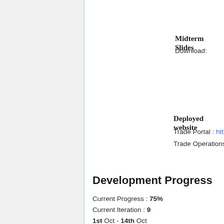Midterm Slides
Download:
Deployed website
Trade Portal : http://
Trade Operations : h
Development Progress
Current Progress : 75%
Current Iteration : 9
1st Oct - 14th Oct